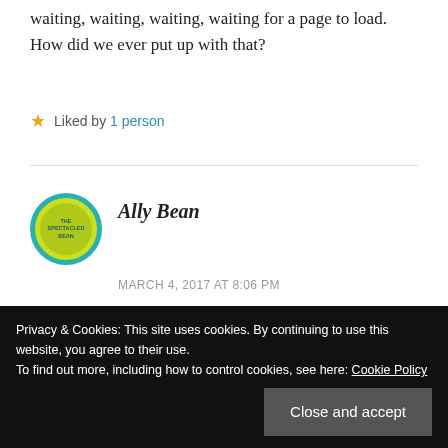waiting, waiting, waiting, waiting for a page to load. How did we ever put up with that?
Liked by 1 person
Ally Bean
MARCH 4, 2017 AT 8:06 PM
Mary, it was all about waiting back then. I think we put up with it because we didn't
Privacy & Cookies: This site uses cookies. By continuing to use this website, you agree to their use. To find out more, including how to control cookies, see here: Cookie Policy
Close and accept